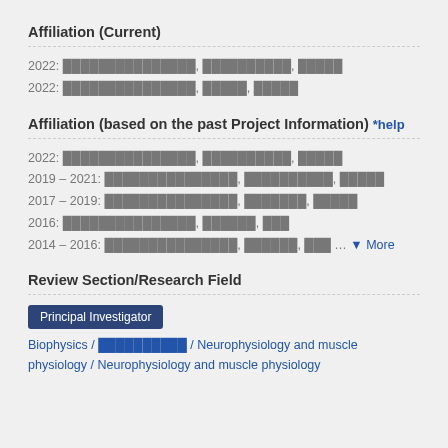Affiliation (Current)
2022: ███████████████, ██████████, █████
2022: ███████████████, █████, █████
Affiliation (based on the past Project Information) *help
2022: ███████████████, ██████████, █████
2019 – 2021: ███████████████, ██████████, █████
2017 – 2019: ███████████████, ███████, █████
2016: ███████████████, ██████, ███
2014 – 2016: ███████████████, ██████, ███ ... More
Review Section/Research Field
Principal Investigator
Biophysics / ██████████ / Neurophysiology and muscle physiology / Neurophysiology and muscle physiology